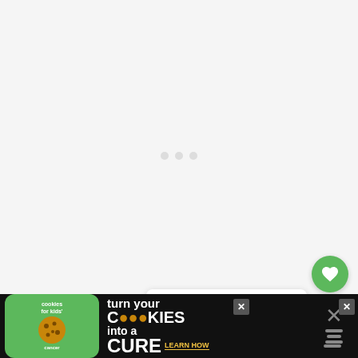[Figure (photo): Large mostly white/blank photo area with faint loading indicator dots in the center, representing a loading image area for Lake Massasecum Park]
[Figure (other): Green circular like/heart button with count of 3, and a share button (gray circle with share icon), plus a 'WHAT'S NEXT' panel showing a thumbnail image and text 'Best Camping in New...']
Lake Massasecum Park also offers canoe,
[Figure (other): Advertisement banner: 'cookies for kids cancer - turn your COOKIES into a CURE LEARN HOW' with green badge and dark background, with close buttons]